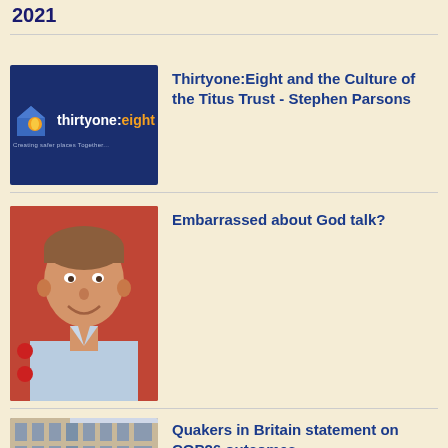2021
[Figure (logo): Thirtyone:Eight logo on dark blue background - house icon with orange/yellow flame, text 'thirtyone:eight Creating safer places Together']
Thirtyone:Eight and the Culture of the Titus Trust - Stephen Parsons
[Figure (photo): Portrait photo of a middle-aged man with short brown hair, smiling, wearing a light blue shirt, with a red bus or vehicle visible in background]
Embarrassed about God talk?
[Figure (photo): Partial view of building exterior, appears to be a city building with columns]
Quakers in Britain statement on COP26 outcomes